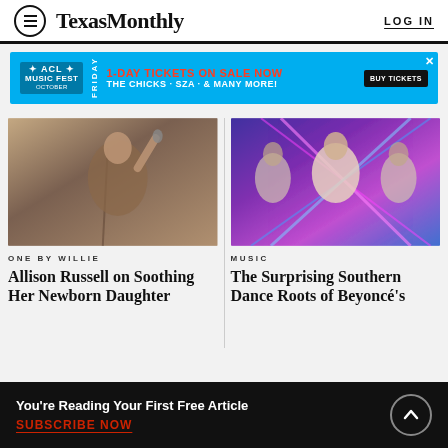Texas Monthly  LOG IN
[Figure (screenshot): ACL Music Fest advertisement banner: 1-DAY TICKETS ON SALE NOW — FRIDAY — THE CHICKS · SZA · & MANY MORE! BUY TICKETS]
[Figure (photo): Singer performing at microphone with arm raised, warm stage lighting]
ONE BY WILLIE
Allison Russell on Soothing Her Newborn Daughter
[Figure (photo): Beyoncé performers/dancers with colorful laser light show, pink and blue lighting]
MUSIC
The Surprising Southern Dance Roots of Beyoncé's
You're Reading Your First Free Article  SUBSCRIBE NOW